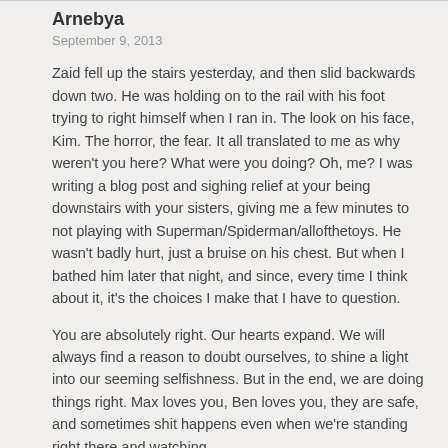Arnebya
September 9, 2013
Zaid fell up the stairs yesterday, and then slid backwards down two. He was holding on to the rail with his foot trying to right himself when I ran in. The look on his face, Kim. The horror, the fear. It all translated to me as why weren't you here? What were you doing? Oh, me? I was writing a blog post and sighing relief at your being downstairs with your sisters, giving me a few minutes to not playing with Superman/Spiderman/allofthetoys. He wasn't badly hurt, just a bruise on his chest. But when I bathed him later that night, and since, every time I think about it, it's the choices I make that I have to question.
You are absolutely right. Our hearts expand. We will always find a reason to doubt ourselves, to shine a light into our seeming selfishness. But in the end, we are doing things right. Max loves you, Ben loves you, they are safe, and sometimes shit happens even when we're standing right there and watching.